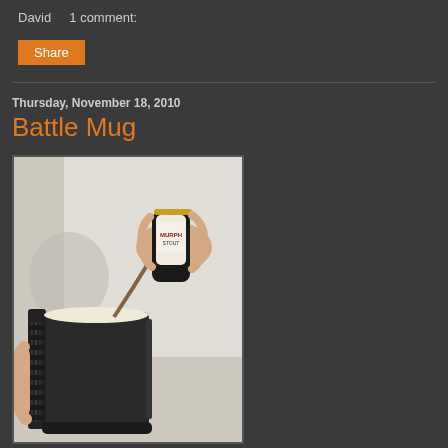David    1 comment:
Share
Thursday, November 18, 2010
Battle Mug
[Figure (photo): A hand pouring a Murphy's Stout can into a tactical-style Battle Mug held by another hand. The mug is dark grey/black with a pistol-grip style handle. The scene is shot against a light background with a person wearing a light-colored t-shirt visible.]